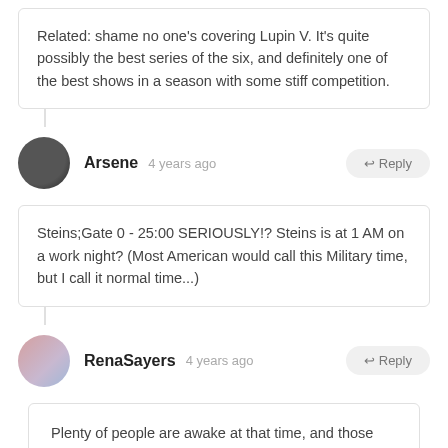Related: shame no one's covering Lupin V. It's quite possibly the best series of the six, and definitely one of the best shows in a season with some stiff competition.
Arsene  4 years ago
Steins;Gate 0 - 25:00 SERIOUSLY!? Steins is at 1 AM on a work night? (Most American would call this Military time, but I call it normal time...)
RenaSayers  4 years ago
Plenty of people are awake at that time, and those that aren't record.